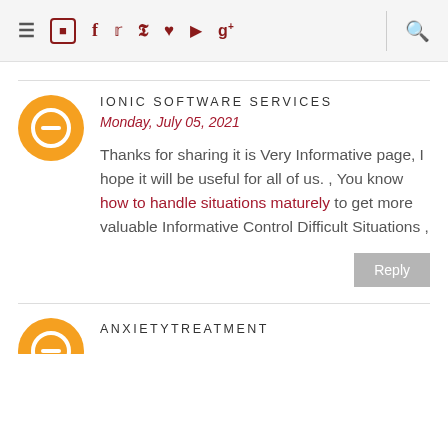≡  [instagram] [facebook] [twitter] [pinterest] [heart] [youtube] [google+]  |  [search]
IONIC SOFTWARE SERVICES
Monday, July 05, 2021
Thanks for sharing it is Very Informative page, I hope it will be useful for all of us. , You know how to handle situations maturely to get more valuable Informative Control Difficult Situations ,
ANXIETYTREATMENT